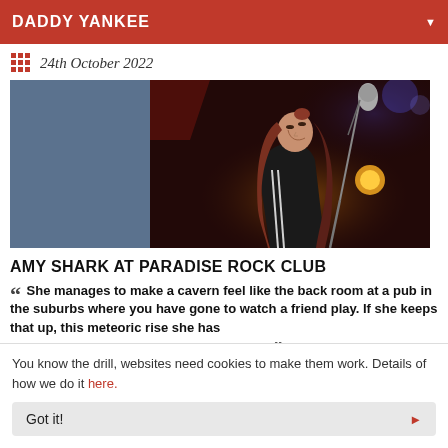DADDY YANKEE
24th October 2022
[Figure (photo): Female singer with long hair performing at microphone on stage with dramatic red and blue lighting, wearing dark jacket with white stripes]
AMY SHARK AT PARADISE ROCK CLUB
“ She manages to make a cavern feel like the back room at a pub in the suburbs where you have gone to watch a friend play. If she keeps that up, this meteoric rise she has enjoyed is only going to be the beginning. ”
You know the drill, websites need cookies to make them work. Details of how we do it here.
Got it!